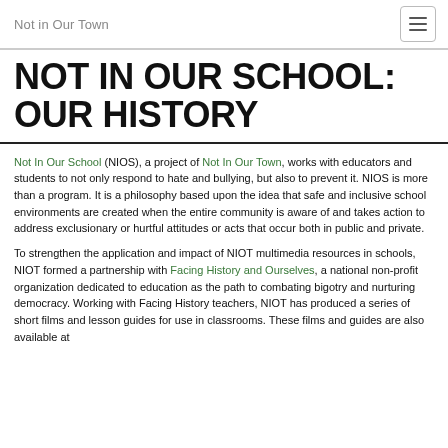Not in Our Town
NOT IN OUR SCHOOL: OUR HISTORY
Not In Our School (NIOS), a project of Not In Our Town, works with educators and students to not only respond to hate and bullying, but also to prevent it. NIOS is more than a program. It is a philosophy based upon the idea that safe and inclusive school environments are created when the entire community is aware of and takes action to address exclusionary or hurtful attitudes or acts that occur both in public and private.
To strengthen the application and impact of NIOT multimedia resources in schools, NIOT formed a partnership with Facing History and Ourselves, a national non-profit organization dedicated to education as the path to combating bigotry and nurturing democracy. Working with Facing History teachers, NIOT has produced a series of short films and lesson guides for use in classrooms. These films and guides are also available at